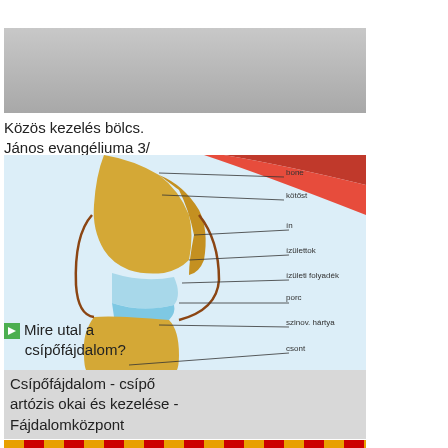[Figure (photo): Gray placeholder image at top, likely a blurred or loading image]
Közös kezelés bölcs.
János evangéliuma 3/
[Figure (illustration): Medical diagram of a knee joint cross-section showing bone, cartilage, tendons, and joint fluid with Hungarian labels]
Posztraumás ízületi fájdalomkezelés
[Figure (photo): Small green icon/thumbnail preceding the text 'Mire utal a csípőfájdalom?']
Mire utal a csípőfájdalom?
Csípőfájdalom - csípő artózis okai és kezelése - Fájdalomközpont